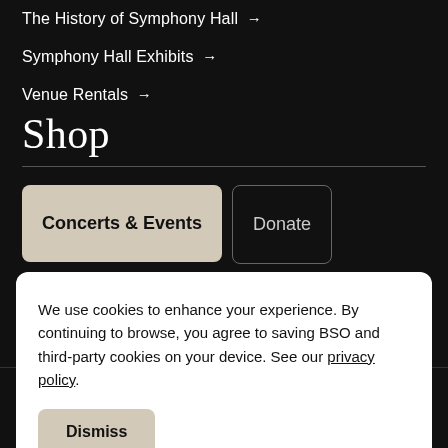The History of Symphony Hall →
Symphony Hall Exhibits →
Venue Rentals →
Shop
Concerts & Events
Donate
We use cookies to enhance your experience. By continuing to browse, you agree to saving BSO and third-party cookies on your device. See our privacy policy.
Dismiss
Merchandise →
Tickets
Listen
Donate
Log In